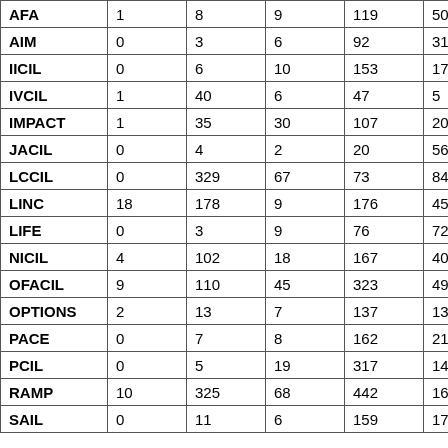| AFA | 1 | 8 | 9 | 119 | 50 |  |
| AIM | 0 | 3 | 6 | 92 | 31 |  |
| IICIL | 0 | 6 | 10 | 153 | 174 |  |
| IVCIL | 1 | 40 | 6 | 47 | 5 |  |
| IMPACT | 1 | 35 | 30 | 107 | 200 |  |
| JACIL | 0 | 4 | 2 | 20 | 56 |  |
| LCCIL | 0 | 329 | 67 | 73 | 84 |  |
| LINC | 18 | 178 | 9 | 176 | 45 |  |
| LIFE | 0 | 3 | 9 | 76 | 72 |  |
| NICIL | 4 | 102 | 18 | 167 | 40 |  |
| OFACIL | 9 | 110 | 45 | 323 | 49 |  |
| OPTIONS | 2 | 13 | 7 | 137 | 130 |  |
| PACE | 0 | 7 | 8 | 162 | 217 |  |
| PCIL | 0 | 5 | 19 | 317 | 144 |  |
| RAMP | 10 | 325 | 68 | 442 | 163 |  |
| SAIL | 0 | 11 | 6 | 159 | 172 |  |